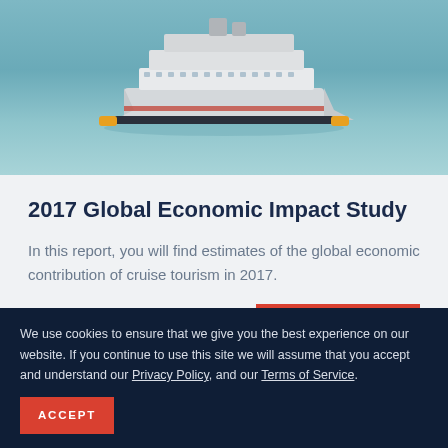[Figure (photo): Aerial view of a large cruise ship on blue-green water]
2017 Global Economic Impact Study
In this report, you will find estimates of the global economic contribution of cruise tourism in 2017.
READ MORE
We use cookies to ensure that we give you the best experience on our website. If you continue to use this site we will assume that you accept and understand our Privacy Policy, and our Terms of Service.
ACCEPT